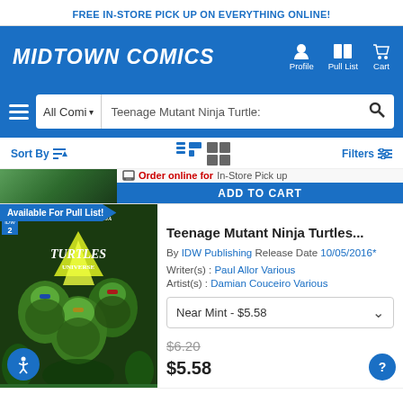FREE IN-STORE PICK UP ON EVERYTHING ONLINE!
[Figure (logo): Midtown Comics logo with navigation icons (Profile, Pull List, Cart)]
[Figure (screenshot): Search bar with All Comics category dropdown and Teenage Mutant Ninja Turtles search query]
Sort By  |  view toggle icons  |  Filters
Order online for In-Store Pick up
ADD TO CART
Available For Pull List!
[Figure (photo): Teenage Mutant Ninja Turtles Universe #2 comic book cover showing turtles in battle]
Teenage Mutant Ninja Turtles...
By IDW Publishing Release Date 10/05/2016*
Writer(s) : Paul Allor Various
Artist(s) : Damian Couceiro Various
Near Mint - $5.58
$6.20
$5.58